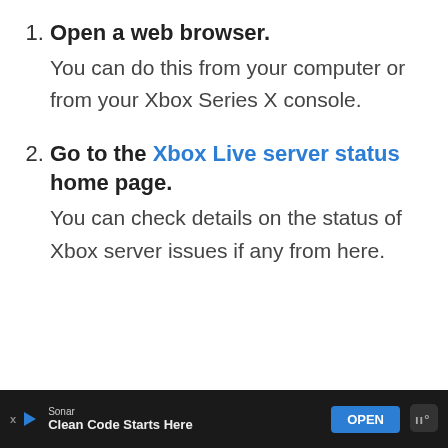Open a web browser. You can do this from your computer or from your Xbox Series X console.
Go to the Xbox Live server status home page. You can check details on the status of Xbox server issues if any from here.
[Figure (other): Advertisement bar at bottom: Sonar brand, 'Clean Code Starts Here' text, OPEN button, app icon]